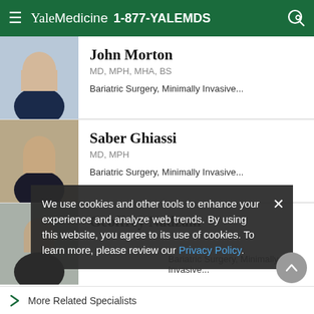Yale Medicine  1-877-YALEMDS
[Figure (photo): Headshot of John Morton in a dark suit and tie, smiling, professional background]
John Morton
MD, MPH, MHA, BS
Bariatric Surgery, Minimally Invasive...
[Figure (photo): Headshot of Saber Ghiassi in a dark suit, smiling, professional background]
Saber Ghiassi
MD, MPH
Bariatric Surgery, Minimally Invasive...
[Figure (photo): Partial headshot of Geoffrey Nadzam, partially obscured by cookie banner]
Geoffrey Nadzam
Bariatric Surgery, Minimally Invasive...
We use cookies and other tools to enhance your experience and analyze web trends. By using this website, you agree to its use of cookies. To learn more, please review our Privacy Policy.
More Related Specialists